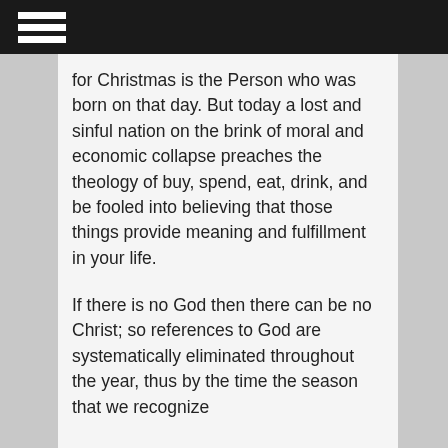for Christmas is the Person who was born on that day. But today a lost and sinful nation on the brink of moral and economic collapse preaches the theology of buy, spend, eat, drink, and be fooled into believing that those things provide meaning and fulfillment in your life.
If there is no God then there can be no Christ; so references to God are systematically eliminated throughout the year, thus by the time the season that we recognize